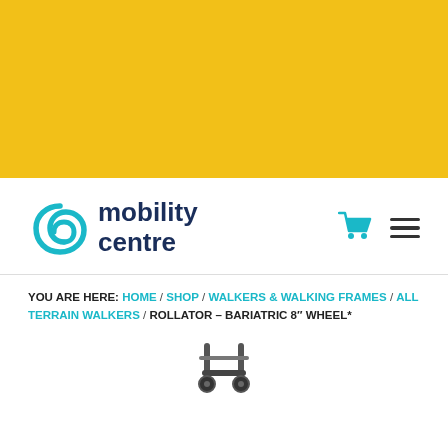[Figure (other): Yellow/gold background banner area at the top of the page]
[Figure (logo): Mobility Centre logo with teal swirl icon and dark blue 'mobility centre' text, alongside cart and hamburger menu icons]
YOU ARE HERE: HOME / SHOP / WALKERS & WALKING FRAMES / ALL TERRAIN WALKERS / ROLLATOR – BARIATRIC 8" WHEEL*
[Figure (photo): Partial product image of a rollator walker visible at the bottom of the page]